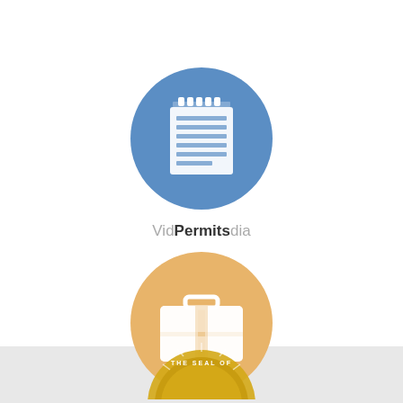[Figure (illustration): Blue circle icon with a notepad/document symbol (lined notepad icon), representing Permits]
VideoPermitsmedia
[Figure (illustration): Orange/tan circle icon with a briefcase/suitcase symbol, representing Jobs]
Jobs
[Figure (logo): Partial view of a government seal (yellow/gold) at the bottom of the page]